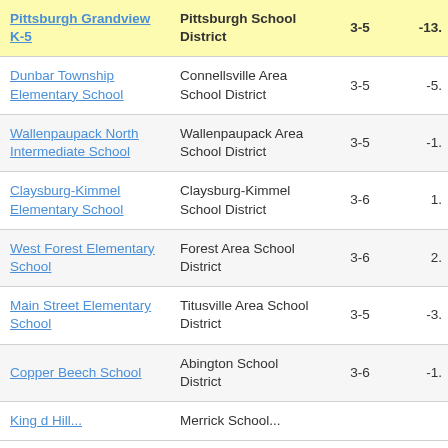| School | District | Grades | Value |
| --- | --- | --- | --- |
| Pittsburgh Grandview K-5 | Pittsburgh School District | 3-5 | -13. |
| Dunbar Township Elementary School | Connellsville Area School District | 3-5 | -5. |
| Wallenpaupack North Intermediate School | Wallenpaupack Area School District | 3-5 | -1. |
| Claysburg-Kimmel Elementary School | Claysburg-Kimmel School District | 3-6 | 1. |
| West Forest Elementary School | Forest Area School District | 3-6 | 2. |
| Main Street Elementary School | Titusville Area School District | 3-5 | -3. |
| Copper Beech School | Abington School District | 3-6 | -1. |
| King d Hill... | Merrick School... |  |  |